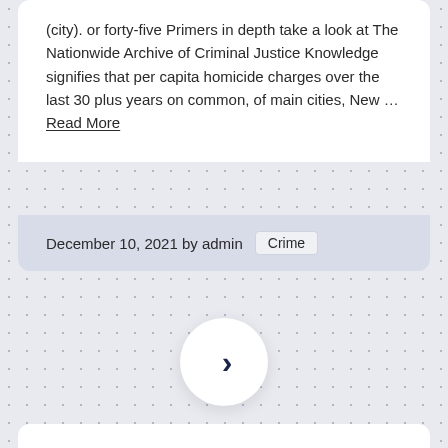(city). or forty-five Primers in depth take a look at The Nationwide Archive of Criminal Justice Knowledge signifies that per capita homicide charges over the last 30 plus years on common, of main cities, New … Read More
December 10, 2021 by admin   Crime
[Figure (other): A circular white navigation button with a right-facing chevron arrow in dark navy color, used as a 'next' or 'forward' navigation control.]